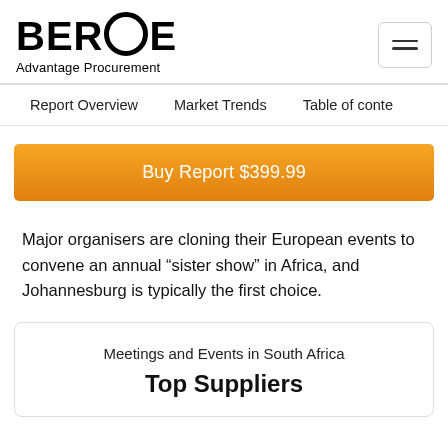BEROE Advantage Procurement
Report Overview   Market Trends   Table of conte…
Buy Report $399.99
Major organisers are cloning their European events to convene an annual “sister show” in Africa, and Johannesburg is typically the first choice.
Meetings and Events in South Africa
Top Suppliers